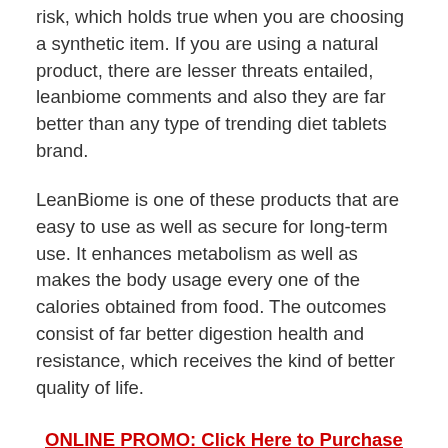risk, which holds true when you are choosing a synthetic item. If you are using a natural product, there are lesser threats entailed, leanbiome comments and also they are far better than any type of trending diet tablets brand.
LeanBiome is one of these products that are easy to use as well as secure for long-term use. It enhances metabolism as well as makes the body usage every one of the calories obtained from food. The outcomes consist of far better digestion health and resistance, which receives the kind of better quality of life.
ONLINE PROMO: Click Here to Purchase LeanBiome at the Lowest Cost Today